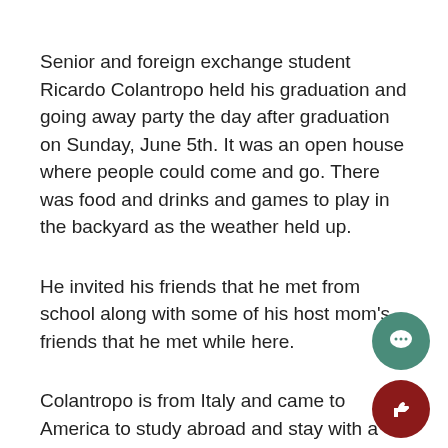Senior and foreign exchange student Ricardo Colantropo held his graduation and going away party the day after graduation on Sunday, June 5th. It was an open house where people could come and go. There was food and drinks and games to play in the backyard as the weather held up.
He invited his friends that he met from school along with some of his host mom's friends that he met while here.
Colantropo is from Italy and came to America to study abroad and stay with a host family. He leav... to fly back to Italy Sunday, June 26th.